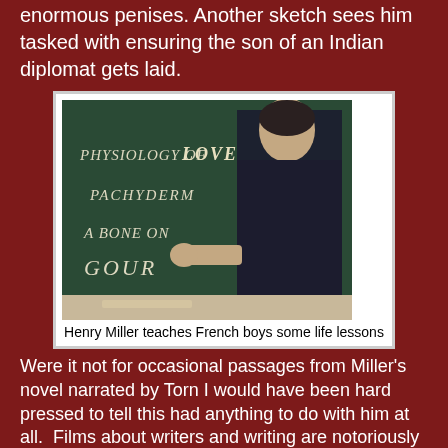enormous penises. Another sketch sees him tasked with ensuring the son of an Indian diplomat gets laid.
[Figure (photo): A man in a dark suit writes on a chalkboard. The chalkboard has words written in chalk: 'PHYSIOLOGY OF LOVE', 'PACHYDERM', 'A BONE ON', 'GOUR...']
Henry Miller teaches French boys some life lessons
Were it not for occasional passages from Miller's novel narrated by Torn I would have been hard pressed to tell this had anything to do with him at all.  Films about writers and writing are notoriously difficult to do well and director Strick makes the sensible decision to not even try but in so doing breaks the link between the film's subject and its source.  I can see why the idea of adapting the book appealed though: this was very much the permissive era in the US and a lot of films from that period took advantage of the opportunity to